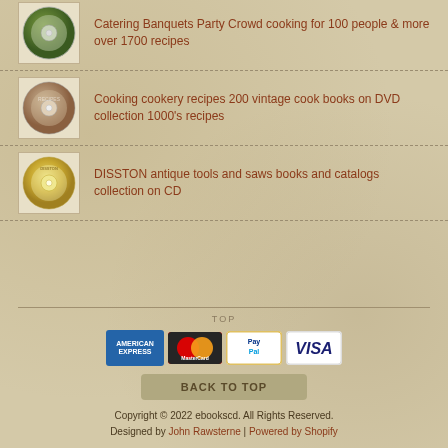[Figure (illustration): CD/DVD disc icon with green foliage image]
Catering Banquets Party Crowd cooking for 100 people & more over 1700 recipes
[Figure (illustration): CD/DVD disc icon with cooking/kitchen image]
Cooking cookery recipes 200 vintage cook books on DVD collection 1000's recipes
[Figure (illustration): CD/DVD disc icon with gold/yellow coloring]
DISSTON antique tools and saws books and catalogs collection on CD
[Figure (illustration): Payment method icons: American Express, Mastercard, PayPal, Visa]
BACK TO TOP
Copyright © 2022 ebookscd. All Rights Reserved. Designed by John Rawsterne | Powered by Shopify